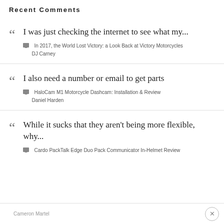Recent Comments
I was just checking the internet to see what my...
In 2017, the World Lost Victory: a Look Back at Victory Motorcycles
DJ Carney
I also need a number or email to get parts
HaloCam M1 Motorcycle Dashcam: Installation & Review
Daniel Harden
While it sucks that they aren't being more flexible, why...
Cardo PackTalk Edge Duo Pack Communicator In-Helmet Review
Cameron Martel